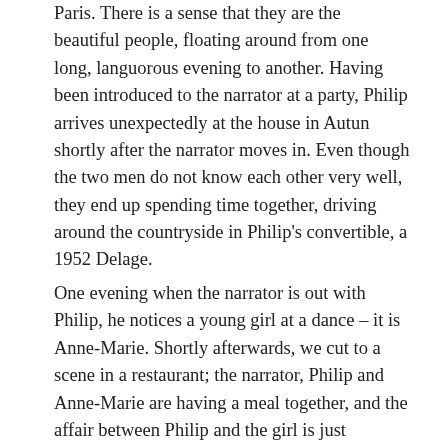Paris. There is a sense that they are the beautiful people, floating around from one long, languorous evening to another. Having been introduced to the narrator at a party, Philip arrives unexpectedly at the house in Autun shortly after the narrator moves in. Even though the two men do not know each other very well, they end up spending time together, driving around the countryside in Philip's convertible, a 1952 Delage.
One evening when the narrator is out with Philip, he notices a young girl at a dance – it is Anne-Marie. Shortly afterwards, we cut to a scene in a restaurant; the narrator, Philip and Anne-Marie are having a meal together, and the affair between Philip and the girl is just beginning to get underway. The remainder of the novel presents an account of Philip and Anne-Marie's relationship, as perceived almost entirely through the imagination of the narrator. The young couple spend their days travelling around France, driving from one town to another, staying at hotels and eating out